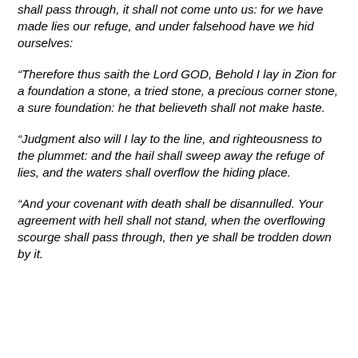shall pass through, it shall not come unto us: for we have made lies our refuge, and under falsehood have we hid ourselves:
“Therefore thus saith the Lord GOD, Behold I lay in Zion for a foundation a stone, a tried stone, a precious corner stone, a sure foundation: he that believeth shall not make haste.
“Judgment also will I lay to the line, and righteousness to the plummet: and the hail shall sweep away the refuge of lies, and the waters shall overflow the hiding place.
“And your covenant with death shall be disannulled. Your agreement with hell shall not stand, when the overflowing scourge shall pass through, then ye shall be trodden down by it.